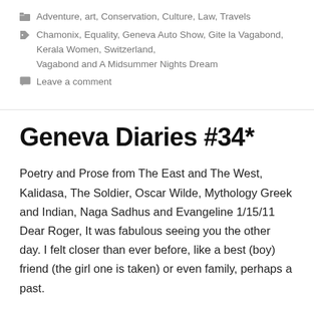Adventure, art, Conservation, Culture, Law, Travels
Chamonix, Equality, Geneva Auto Show, Gite la Vagabond, Kerala Women, Switzerland, Vagabond and A Midsummer Nights Dream
Leave a comment
Geneva Diaries #34*
Poetry and Prose from The East and The West, Kalidasa, The Soldier, Oscar Wilde, Mythology Greek and Indian, Naga Sadhus and Evangeline 1/15/11 Dear Roger, It was fabulous seeing you the other day. I felt closer than ever before, like a best (boy) friend (the girl one is taken) or even family, perhaps a past.